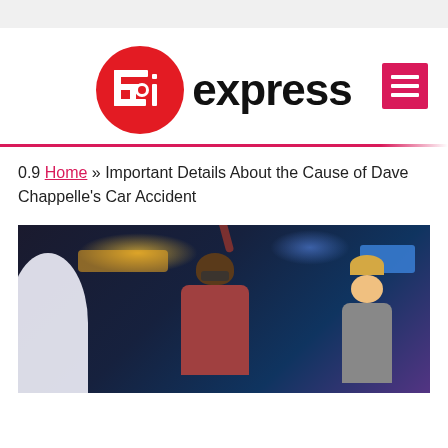[Figure (logo): Epi Express logo: red circle with stylized 'Epi' text in white, followed by 'express' in bold black text]
0.9 Home » Important Details About the Cause of Dave Chappelle's Car Accident
[Figure (photo): Photo of Dave Chappelle at what appears to be a basketball arena, wearing glasses and a red shirt, raising one finger, with a blonde woman visible to the right and arena lights in the background]